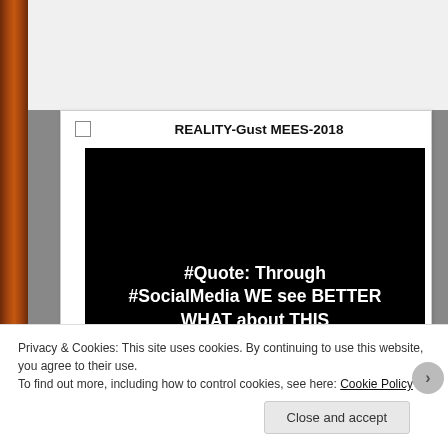REALITY-Gust MEES-2018
[Figure (illustration): Black background image with white bold text reading: #Quote: Through #SocialMedia WE see BETTER WHAT about THIS #RealWorld is made by watching and analyzing the #VirtualWorld!! And it ISN'T funny to #realize it!! It hurts a LOT sometimes... THE #Reality!!]
Privacy & Cookies: This site uses cookies. By continuing to use this website, you agree to their use.
To find out more, including how to control cookies, see here: Cookie Policy
Close and accept